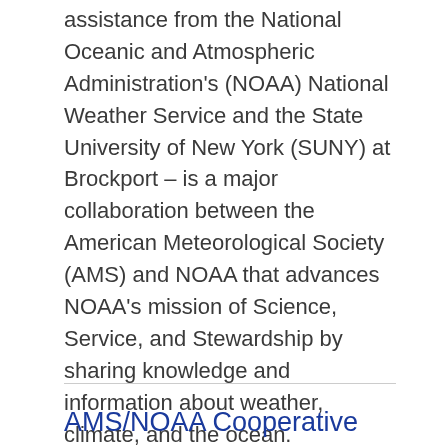assistance from the National Oceanic and Atmospheric Administration's (NOAA) National Weather Service and the State University of New York (SUNY) at Brockport – is a major collaboration between the American Meteorological Society (AMS) and NOAA that advances NOAA's mission of Science, Service, and Stewardship by sharing knowledge and information about weather, climate, and the ocean.
Show More ▼
AMS/NOAA Cooperative